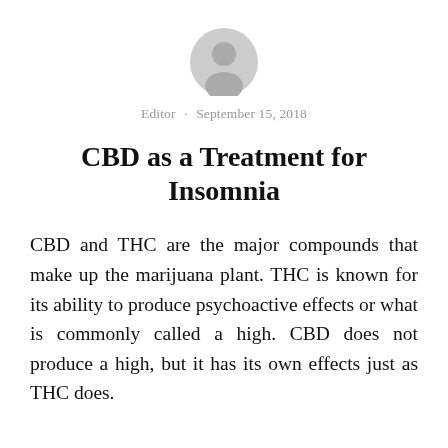[Figure (illustration): Gray circular avatar/profile icon of a person silhouette]
Editor · September 15, 2018
CBD as a Treatment for Insomnia
CBD and THC are the major compounds that make up the marijuana plant. THC is known for its ability to produce psychoactive effects or what is commonly called a high. CBD does not produce a high, but it has its own effects just as THC does.